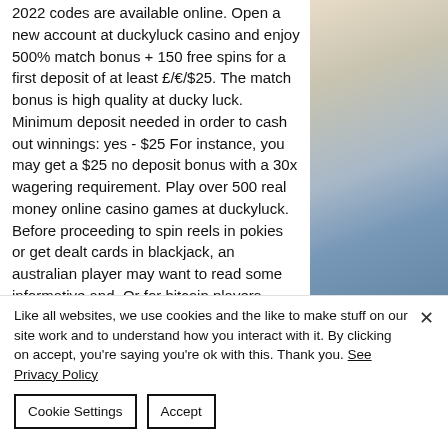2022 codes are available online. Open a new account at duckyluck casino and enjoy 500% match bonus + 150 free spins for a first deposit of at least £/€/$25. The match bonus is high quality at ducky luck. Minimum deposit needed in order to cash out winnings: yes - $25 For instance, you may get a $25 no deposit bonus with a 30x wagering requirement. Play over 500 real money online casino games at duckyluck. Before proceeding to spin reels in pokies or get dealt cards in blackjack, an australian player may want to read some informative and. Or for bitcoin players, currencies.
[Figure (photo): Blurred outdoor photo with beige/tan tones at top transitioning to blue-grey sky tones at bottom, appears to be a landscape or seascape]
Like all websites, we use cookies and the like to make stuff on our site work and to understand how you interact with it. By clicking on accept, you're saying you're ok with this. Thank you. See Privacy Policy
Cookie Settings
Accept